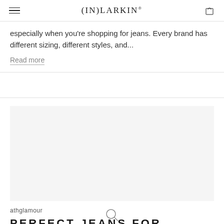(IN)LARKIN®
especially when you're shopping for jeans. Every brand has different sizing, different styles, and...
Read more
[Figure (photo): Blank light gray image placeholder for article]
athglamour
PERFECT JEANS FOR QUARANTINE